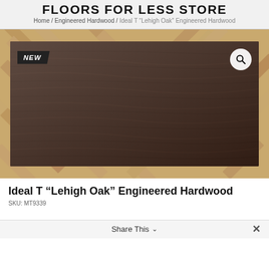FLOORS FOR LESS STORE
Home / Engineered Hardwood / Ideal T “Lehigh Oak” Engineered Hardwood
[Figure (photo): Product photo of Ideal T Lehigh Oak Engineered Hardwood flooring plank showing dark brown wood grain texture with a NEW badge in the upper left and a search/zoom icon in the upper right. Background shows light oak herringbone pattern flooring.]
Ideal T “Lehigh Oak” Engineered Hardwood
SKU: MT9339
Share This